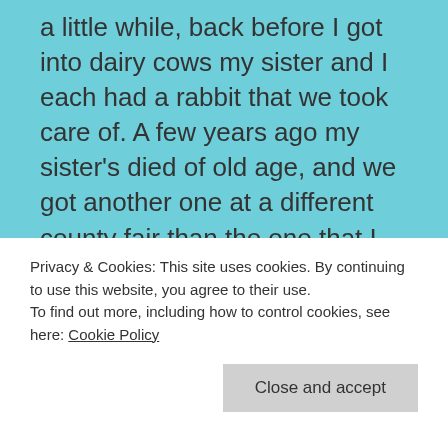a little while, back before I got into dairy cows my sister and I each had a rabbit that we took care of. A few years ago my sister's died of old age, and we got another one at a different county fair than the one that I show cows in. We were assured by the owners that the one we bought was a boy, to go with the other boy that I had back at home. This it turns out, was not true. So at one point the rabbits bit a hole through the divider in the middle, and a little
Privacy & Cookies: This site uses cookies. By continuing to use this website, you agree to their use.
To find out more, including how to control cookies, see here: Cookie Policy
Close and accept
carried them and drop the stone of the loss